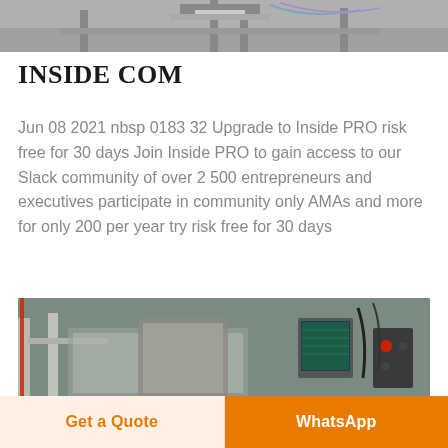[Figure (photo): Top portion of a machine/industrial equipment, partially cropped, showing mechanical structure with rails and connectors on a gray background.]
INSIDE COM
Jun 08 2021 nbsp 0183 32 Upgrade to Inside PRO risk free for 30 days Join Inside PRO to gain access to our Slack community of over 2 500 entrepreneurs and executives participate in community only AMAs and more for only 200 per year try risk free for 30 days
[Figure (photo): Industrial machinery interior showing metal frames, conveyor or processing equipment, a blue-screen control panel/monitor, and various mechanical components in a factory setting.]
Get a Quote
WhatsApp